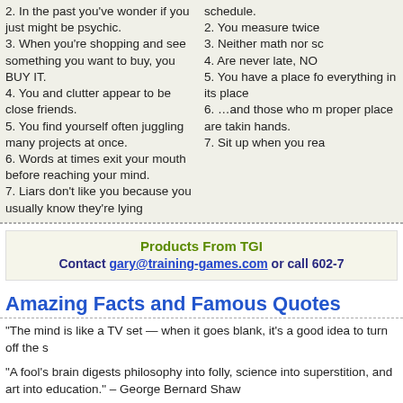2. In the past you've wonder if you just might be psychic.
3. When you're shopping and see something you want to buy, you BUY IT.
4. You and clutter appear to be close friends.
5. You find yourself often juggling many projects at once.
6. Words at times exit your mouth before reaching your mind.
7. Liars don't like you because you usually know they're lying
schedule.
2. You measure twice...
3. Neither math nor sc...
4. Are never late, NO...
5. You have a place for everything in its place...
6. …and those who m proper place are takin hands.
7. Sit up when you rea...
Products From TGI
Contact gary@training-games.com or call 602-7...
Amazing Facts and Famous Quotes
"The mind is like a TV set — when it goes blank, it's a good idea to turn off the s...
"A fool's brain digests philosophy into folly, science into superstition, and art into education." – George Bernard Shaw
Fun Facts: Your brain weighs about 3 pounds and is the size of your two fists pu approximately 100 billion neurons in your brain with a potential of 10,000 synaps...
TGI News and FREE Product offers